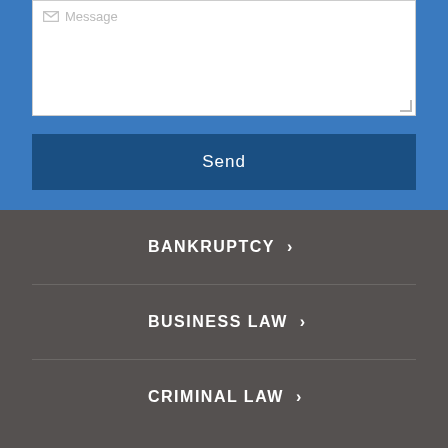[Figure (screenshot): Message textarea input field with envelope icon placeholder and resize handle]
Send
BANKRUPTCY
BUSINESS LAW
CRIMINAL LAW